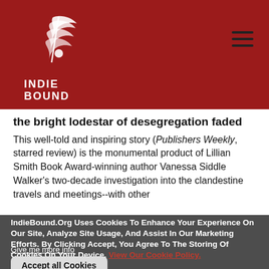[Figure (logo): IndieBound logo: white feather/flame design above text INDIE BOUND on a dark red background]
the bright lodestar of desegregation faded
This well-told and inspiring story (Publishers Weekly, starred review) is the monumental product of Lillian Smith Book Award-winning author Vanessa Siddle Walker's two-decade investigation into the clandestine travels and meetings--with other
IndieBound.Org Uses Cookies To Enhance Your Experience On Our Site, Analyze Site Usage, And Assist In Our Marketing Efforts. By Clicking Accept, You Agree To The Storing Of Cookies On Your Device. View Our Cookie Policy.
Give me more info
Accept all Cookies